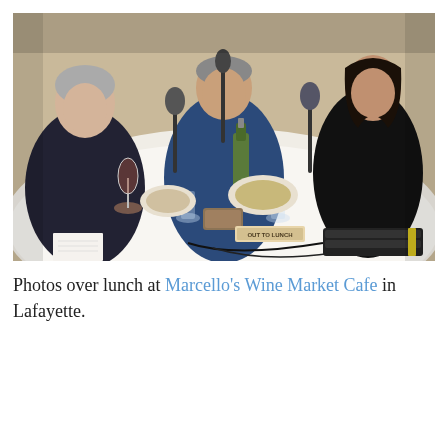[Figure (photo): Three people seated around a white-tablecloth round table in a restaurant, with microphones set up for a podcast recording. A woman with short grey hair sits on the left, a man in a blue blazer sits in the center, and a woman with long dark hair sits on the right. The table has food, wine glasses, water glasses, a wine bottle, and a keyboard with a yellow stripe. A small sign on the table reads 'OUT TO LUNCH'.]
Photos over lunch at Marcello's Wine Market Cafe in Lafayette.